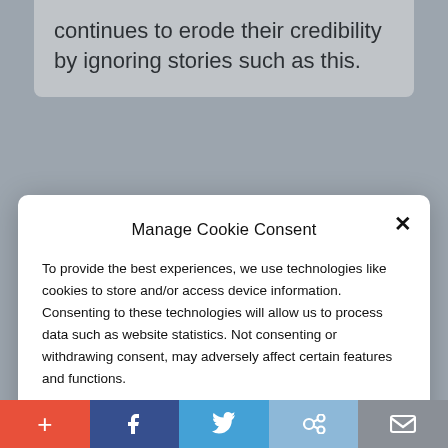continues to erode their credibility by ignoring stories such as this.
Manage Cookie Consent
To provide the best experiences, we use technologies like cookies to store and/or access device information. Consenting to these technologies will allow us to process data such as website statistics. Not consenting or withdrawing consent, may adversely affect certain features and functions.
Accept
Cookie Policy  Privacy Policy
Wh... N... T... S...